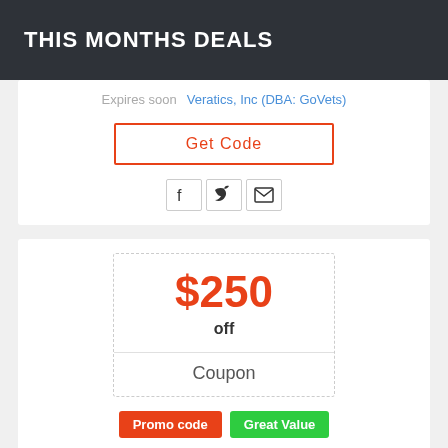THIS MONTHS DEALS
Expires soon   Veratics, Inc (DBA: GoVets)
Get Code
[Figure (other): Social sharing icons: Facebook (f), Twitter (bird), Email (envelope)]
$250
off
Coupon
Promo code
Great Value